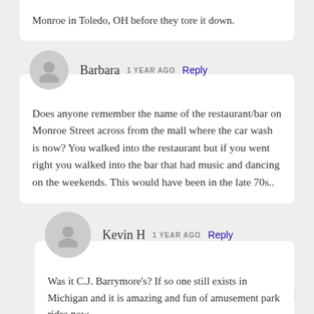Monroe in Toledo, OH before they tore it down.
Barbara  1 YEAR AGO  Reply
Does anyone remember the name of the restaurant/bar on Monroe Street across from the mall where the car wash is now? You walked into the restaurant but if you went right you walked into the bar that had music and dancing on the weekends. This would have been in the late 70s..
Kevin H  1 YEAR AGO  Reply
Was it C.J. Barrymore's? If so one still exists in Michigan and it is amazing and fun of amusement park rides now